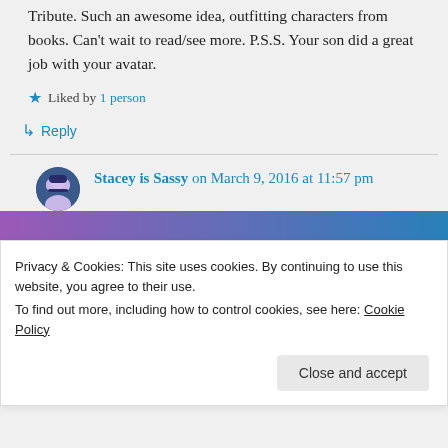Tribute. Such an awesome idea, outfitting characters from books. Can't wait to read/see more. P.S.S. Your son did a great job with your avatar.
★ Liked by 1 person
↳ Reply
Stacey is Sassy on March 9, 2016 at 11:57 pm
Privacy & Cookies: This site uses cookies. By continuing to use this website, you agree to their use.
To find out more, including how to control cookies, see here: Cookie Policy
Close and accept